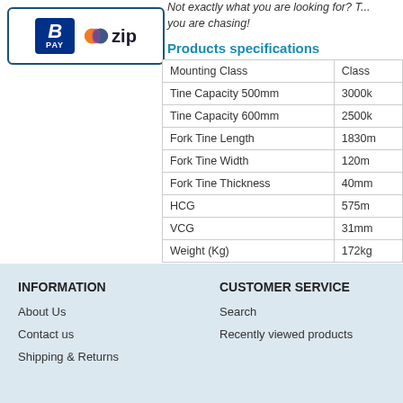Not exactly what you are looking for? You are chasing!
Products specifications
|  |  |
| --- | --- |
| Mounting Class | Class |
| Tine Capacity 500mm | 3000k |
| Tine Capacity 600mm | 2500k |
| Fork Tine Length | 1830m |
| Fork Tine Width | 120m |
| Fork Tine Thickness | 40mm |
| HCG | 575m |
| VCG | 31mm |
| Weight (Kg) | 172kg |
Product tags
forklift (143) , fork tines (67) , forklift ti...
INFORMATION
About Us
Contact us
Shipping & Returns
CUSTOMER SERVICE
Search
Recently viewed products